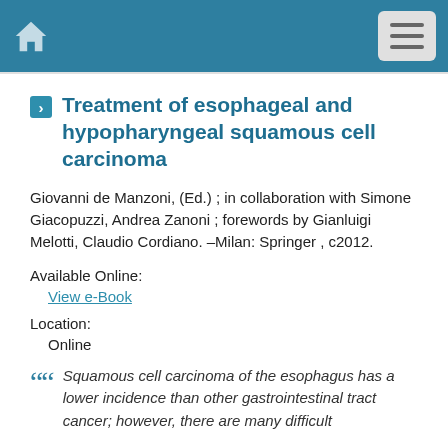Home | Menu
Treatment of esophageal and hypopharyngeal squamous cell carcinoma
Giovanni de Manzoni, (Ed.) ; in collaboration with Simone Giacopuzzi, Andrea Zanoni ; forewords by Gianluigi Melotti, Claudio Cordiano. –Milan: Springer , c2012.
Available Online:
View e-Book
Location:
Online
Squamous cell carcinoma of the esophagus has a lower incidence than other gastrointestinal tract cancer; however, there are many difficult